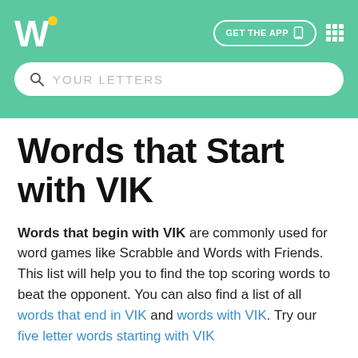W | GET THE APP
Words that Start with VIK
Words that begin with VIK are commonly used for word games like Scrabble and Words with Friends. This list will help you to find the top scoring words to beat the opponent. You can also find a list of all words that end in VIK and words with VIK. Try our five letter words starting with VIK